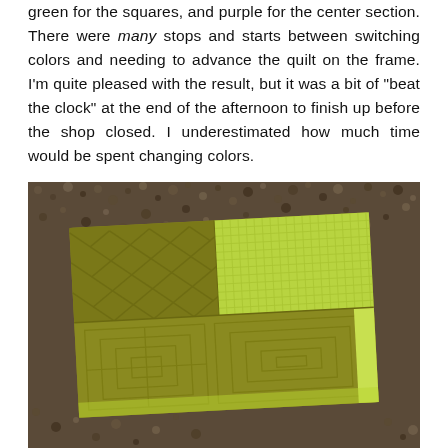green for the squares, and purple for the center section. There were many stops and starts between switching colors and needing to advance the quilt on the frame. I'm quite pleased with the result, but it was a bit of "beat the clock" at the end of the afternoon to finish up before the shop closed. I underestimated how much time would be spent changing colors.
[Figure (photo): A folded quilt with green and yellow-green fabric featuring various patterns including herringbone, small grid checks, and geometric square designs, laid on a gravel/stone surface.]